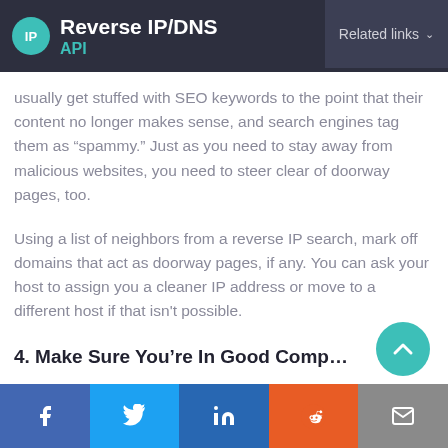Reverse IP/DNS API — Related links
usually get stuffed with SEO keywords to the point that their content no longer makes sense, and search engines tag them as “spammy.” Just as you need to stay away from malicious websites, you need to steer clear of doorway pages, too.
Using a list of neighbors from a reverse IP search, mark off domains that act as doorway pages, if any. You can ask your host to assign you a cleaner IP address or move to a different host if that isn't possible.
4. Make Sure You’re In Good Compa…